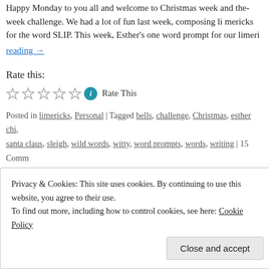Happy Monday to you all and welcome to Christmas week and the-week challenge. We had a lot of fun last week, composing limericks for the word SLIP. This week, Esther's one word prompt for our limeric
reading →
Rate this:
[Figure (other): Five empty star rating icons followed by an info icon (teal circle with i) and text 'Rate This']
Posted in limericks, Personal | Tagged bells, challenge, Christmas, esther chi, santa claus, sleigh, wild words, witty, word prompts, words, writing | 15 Comm
Esther's Challenge – Can You Tell A Story
Posted on 16 December 2021 by Lance Greenfield
Privacy & Cookies: This site uses cookies. By continuing to use this website, you agree to their use.
To find out more, including how to control cookies, see here: Cookie Policy
Close and accept